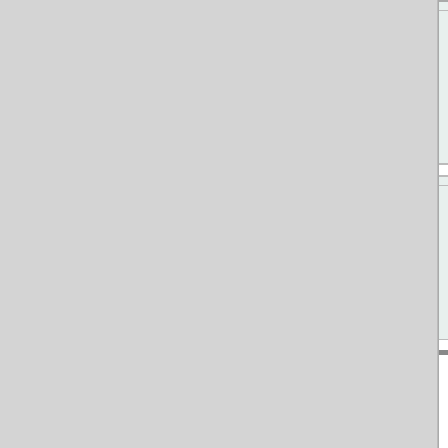MathMagic Pro Edition 1-year Subscription
For Adobe InDesign™, plus General purpose documents, web.
Subscription License for 1 year (License Expi...
Comes with Free Updates and Tech support d...
Same price for both Regular and Academic us...
MathMagic Pro Edition 2-year Subscription
For Adobe InDesign™, plus General purpose documents, web.
Subscription License for 2 years (License Exp...
Comes with Free Updates and Tech support d...
Same price for both Regular and Academic us...
Package Shipping is no longer available
All software will be delivered by Email with the down... information.
The physical package is not required to install MathM...